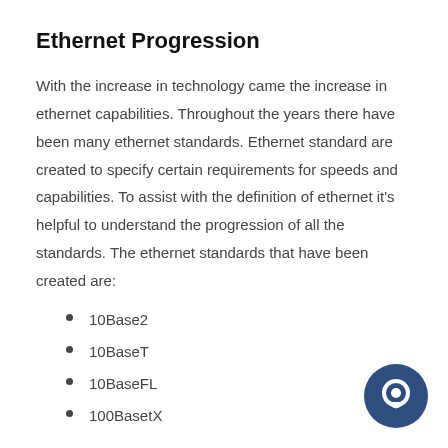Ethernet Progression
With the increase in technology came the increase in ethernet capabilities. Throughout the years there have been many ethernet standards. Ethernet standard are created to specify certain requirements for speeds and capabilities. To assist with the definition of ethernet it's helpful to understand the progression of all the standards. The ethernet standards that have been created are:
10Base2
10BaseT
10BaseFL
100BasetX